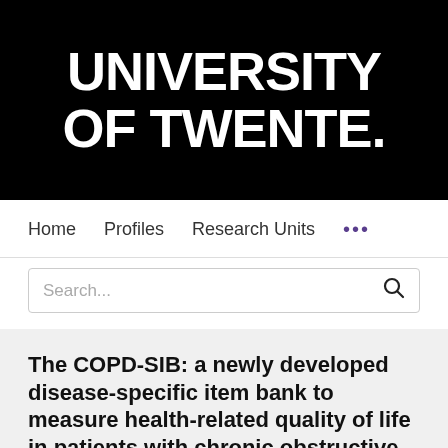[Figure (logo): University of Twente logo — white bold text 'UNIVERSITY OF TWENTE.' on black background]
Home   Profiles   Research Units   ...
Search...
The COPD-SIB: a newly developed disease-specific item bank to measure health-related quality of life in patients with chronic obstructive pulmonary disease